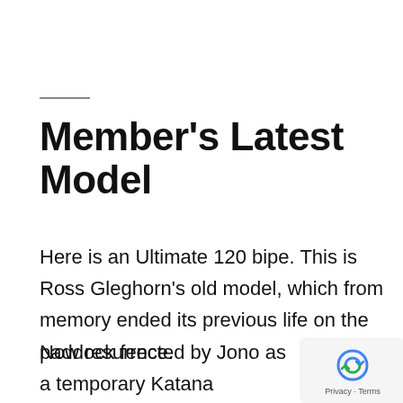Member’s Latest Model
Here is an Ultimate 120 bipe. This is Ross Gleghorn’s old model, which from memory ended its previous life on the paddock fence.
Now resurrected by Jono as a temporary Katana replacement.